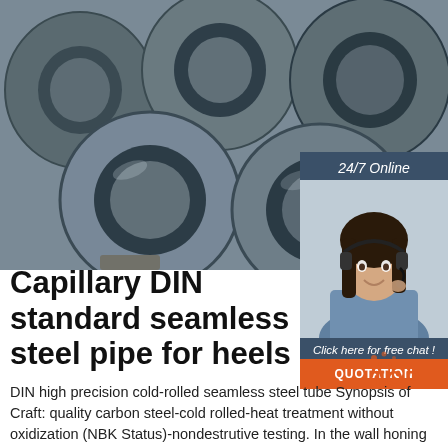[Figure (photo): Close-up photo of multiple stacked steel seamless pipes viewed from the end, showing circular cross-sections, dark metallic gray color]
[Figure (photo): Chat widget panel with dark blue-gray background showing a woman with headset (customer service representative), '24/7 Online' text, 'Click here for free chat!' text, and an orange QUOTATION button]
Capillary DIN standard seamless steel pipe for heels
DIN high precision cold-rolled seamless steel tube Synopsis of Craft: quality carbon steel-cold rolled-heat treatment without oxidization (NBK Status)-nondestrutive testing. In the wall honing and inside flushing under the high pressure.Antirust